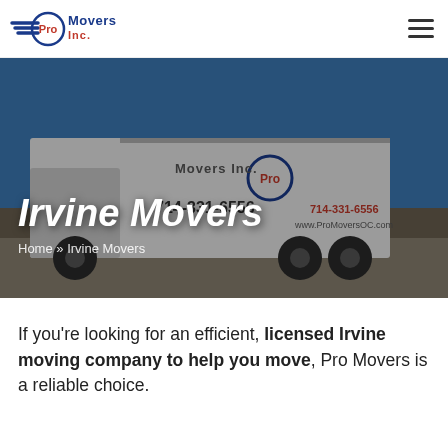[Figure (logo): Pro Movers Inc. logo with circular emblem, blue and red text, wing graphic on left]
[Figure (photo): A white Pro Movers Inc. moving truck parked in a parking lot with blue sky. The truck displays the company logo, phone number 714-331-6556, and website www.ProMoversOC.com]
Irvine Movers
Home » Irvine Movers
If you're looking for an efficient, licensed Irvine moving company to help you move, Pro Movers is a reliable choice.